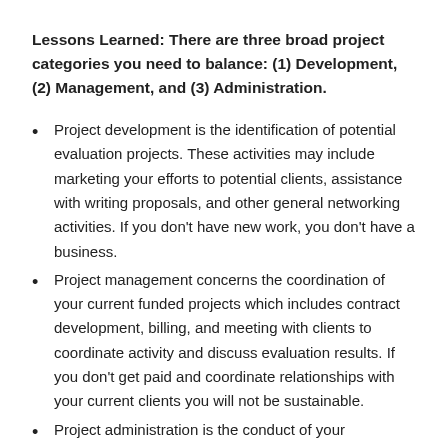Lessons Learned: There are three broad project categories you need to balance: (1) Development, (2) Management, and (3) Administration.
Project development is the identification of potential evaluation projects. These activities may include marketing your efforts to potential clients, assistance with writing proposals, and other general networking activities. If you don't have new work, you don't have a business.
Project management concerns the coordination of your current funded projects which includes contract development, billing, and meeting with clients to coordinate activity and discuss evaluation results. If you don't get paid and coordinate relationships with your current clients you will not be sustainable.
Project administration is the conduct of your evaluation that may include data collection, organization, editing, and